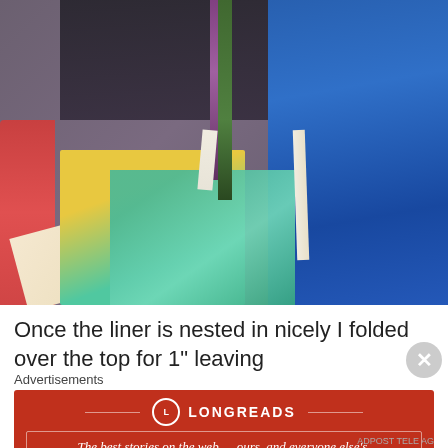[Figure (photo): Close-up photo of colorful folded fabric samples on a dress form or rack. Fabrics include blue marbled pattern, teal with yellow/green pattern, red, purple stripe, green stripe, and dark background fabric.]
Once the liner is nested in nicely I folded over the top for 1" leaving
Advertisements
[Figure (logo): Longreads advertisement banner. Red background with Longreads circular logo and text: The best stories on the web — ours, and everyone else's.]